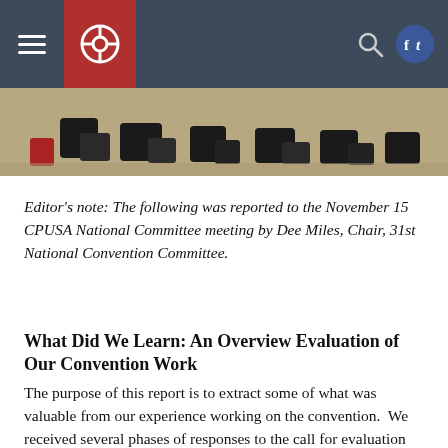CPUSA navigation header with hamburger menu, logo, search, and social icons
[Figure (photo): Photograph showing people's feet and lower legs standing in a row on a carpeted floor, taken at a meeting or event]
Editor's note: The following was reported to the November 15 CPUSA National Committee meeting by Dee Miles, Chair, 31st National Convention Committee.
What Did We Learn: An Overview Evaluation of Our Convention Work
The purpose of this report is to extract some of what was valuable from our experience working on the convention.  We received several phases of responses to the call for evaluation and even before the call we received…